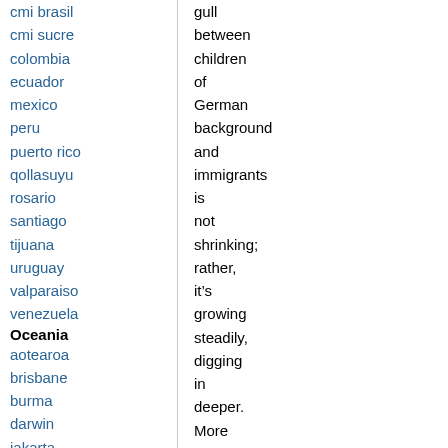cmi brasil
cmi sucre
colombia
ecuador
mexico
peru
puerto rico
qollasuyu
rosario
santiago
tijuana
uruguay
valparaiso
venezuela
Oceania
aotearoa
brisbane
burma
darwin
jakarta
manila
melbourne
perth
qc
sydney
gull between children of German background and immigrants is not shrinking; rather, it’s growing steadily, digging in deeper. More and more of those who once stood alongside